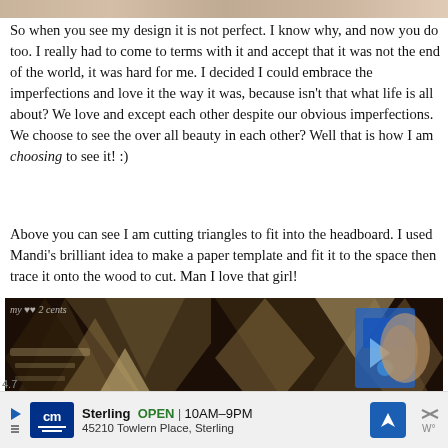[Figure (photo): Narrow top strip showing a partial photo of a wooden headboard project]
So when you see my design it is not perfect.  I know why, and now you do too.  I really had to come to terms with it and accept that it was not the end of the world, it was hard for me.  I decided I could embrace the imperfections and love it the way it was, because isn't that what life is all about?  We love and except each other despite our obvious imperfections.  We choose to see the over all beauty in each other?  Well that is how I am choosing to see it! :)
Above you can see I am cutting triangles to fit into the headboard.  I used Mandi's brilliant idea to make a paper template and fit it to the space then trace it onto the wood to cut.  Man I love that girl!
[Figure (photo): Two side-by-side photos showing wood pieces being cut and fitted for a geometric headboard project, with a watermark reading my 2 cents]
[Figure (other): Advertisement bar: cm logo, Sterling OPEN 10AM-9PM, 45210 Towlern Place, Sterling, with navigation icon and close button]